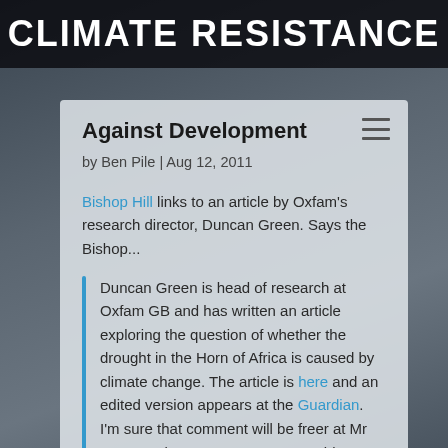CLIMATE RESISTANCE
Against Development
by Ben Pile | Aug 12, 2011
Bishop Hill links to an article by Oxfam's research director, Duncan Green. Says the Bishop...
Duncan Green is head of research at Oxfam GB and has written an article exploring the question of whether the drought in the Horn of Africa is caused by climate change. The article is here and an edited version appears at the Guardian. I'm sure that comment will be freer at Mr Green's place. Green presents evidence to support the idea that the drought in the Horn of Africa is global warming